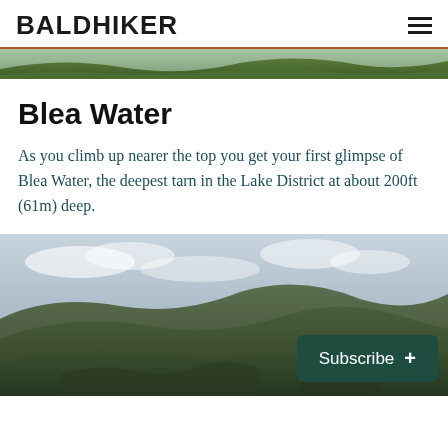BALDHIKER
[Figure (photo): Narrow strip banner image of green hills/landscape at the top of the page]
Blea Water
As you climb up nearer the top you get your first glimpse of Blea Water, the deepest tarn in the Lake District at about 200ft (61m) deep.
[Figure (photo): Landscape photograph of rolling mountain hills under a cloudy sky in the Lake District, with a dark green 'Subscribe +' button overlaid in the bottom-right corner]